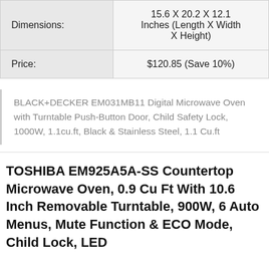| Dimensions: | 15.6 X 20.2 X 12.1 Inches (Length X Width X Height) |
| Price: | $120.85 (Save 10%) |
BLACK+DECKER EM031MB11 Digital Microwave Oven with Turntable Push-Button Door, Child Safety Lock, 1000W, 1.1cu.ft, Black & Stainless Steel, 1.1 Cu.ft
TOSHIBA EM925A5A-SS Countertop Microwave Oven, 0.9 Cu Ft With 10.6 Inch Removable Turntable, 900W, 6 Auto Menus, Mute Function & ECO Mode, Child Lock, LED